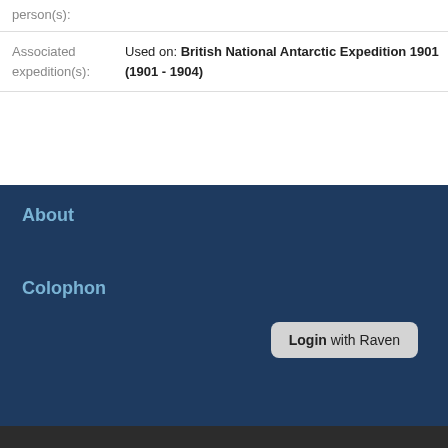person(s):
| Associated expedition(s): | Used on: British National Antarctic Expedition 1901 (1901 - 1904) |
About
Colophon
Login with Raven